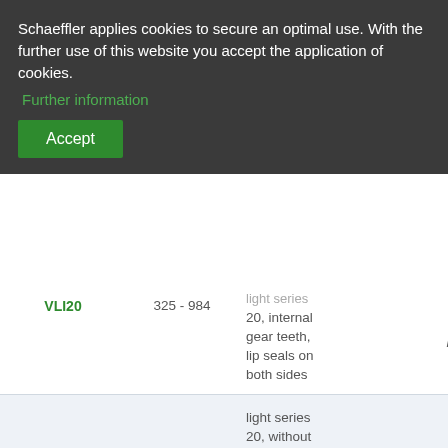Schaeffler applies cookies to secure an optimal use. With the further use of this website you accept the application of cookies.
Further information
Accept
| Name | Range | Description | Brand |
| --- | --- | --- | --- |
| VLI20 | 325 - 984 | light series 20, internal gear teeth, lip seals on both sides | INA |
| VLU20 | 304 - 984 | light series 20, without gear teeth, lip seals on both sides | INA |
| VSA20 | 342 - 1022 | standard series 20, external gear teeth, lip seals on both sides |  |